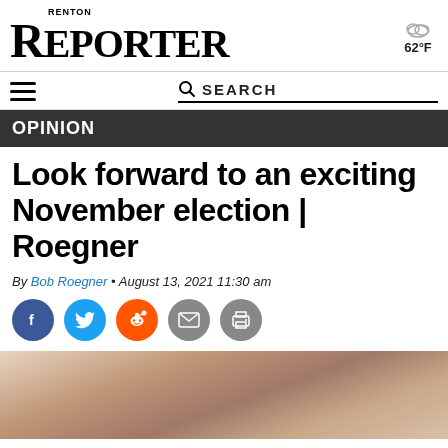RENTON REPORTER — 62°F
Look forward to an exciting November election | Roegner
OPINION
By Bob Roegner • August 13, 2021 11:30 am
[Figure (photo): Partial photo of a person with glasses, partially visible at bottom of page]
[Figure (illustration): Social share buttons: Facebook, Twitter, Reddit, Email, Print]